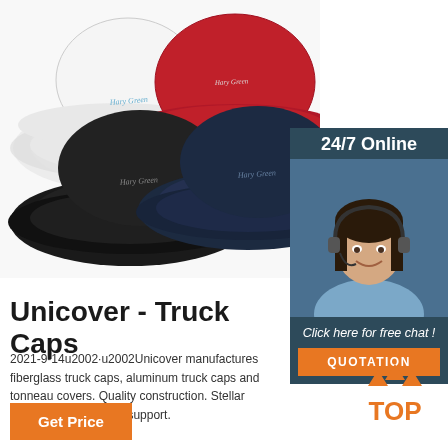[Figure (photo): Four bucket hats in white, red, black, and dark navy, arranged overlapping on a white background. Each hat has cursive script text on the front.]
[Figure (photo): Sidebar with dark teal background showing a smiling female customer service agent wearing a headset. Text reads '24/7 Online'. Below is 'Click here for free chat!' and an orange 'QUOTATION' button.]
Unicover - Truck Caps
2021-9-14u2002·u2002Unicover manufactures fiberglass truck caps, aluminum truck caps and tonneau covers. Quality construction. Stellar customer service and support.
[Figure (logo): Orange 'TOP' logo with three small triangle/mountain shapes above the word TOP in orange text.]
Get Price